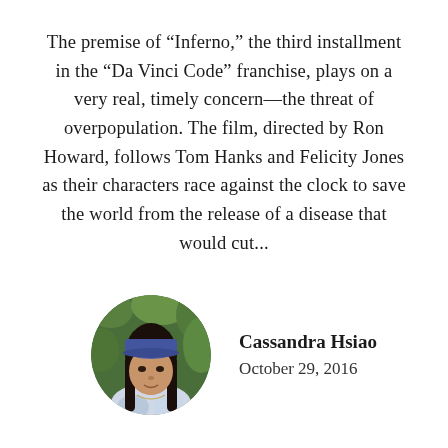The premise of “Inferno,” the third installment in the “Da Vinci Code” franchise, plays on a very real, timely concern—the threat of overpopulation. The film, directed by Ron Howard, follows Tom Hanks and Felicity Jones as their characters race against the clock to save the world from the release of a disease that would cut...
[Figure (photo): Circular portrait photo of Cassandra Hsiao, a young woman wearing a blue baseball cap and a tie-dye top, with trees/greenery in the background.]
Cassandra Hsiao
October 29, 2016